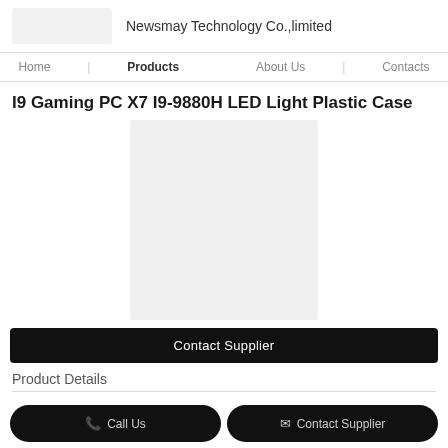Newsmay Technology Co.,limited
Home | Products | About Us | Contacts
I9 Gaming PC X7 I9-9880H LED Light Plastic Case
[Figure (photo): Product image placeholder - light gray rectangle representing product photo]
Contact Supplier
Product Details
| Place of Origin: | SHENZHEN CHINA |
| Brand Name: | NEWSMAY |
Call Us   Contact Supplier